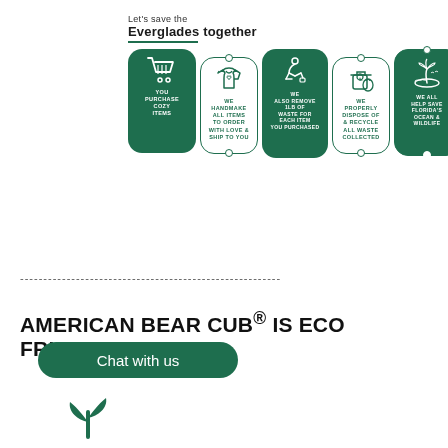[Figure (infographic): Five-step process infographic showing: 1) You purchase cozy items (shopping cart icon, dark green filled card), 2) We handmake all items to order with love & ship to you (hoodie icon, outlined), 3) We also remove 1LB of waste for each item you purchased (person picking up litter, dark green filled card), 4) We properly dispose of & recycle all waste collected (recycling bin icon, outlined), 5) We all help save Florida's ocean & wildlife (island with palm tree icon, dark green filled card). Header: 'Let's save the Everglades together' with green underline.]
--------------------------------------------------------
AMERICAN BEAR CUB® IS ECO FRIENDLY
[Figure (illustration): Green rounded rectangle chat button labeled 'Chat with us', and a green plant/sprout icon at the bottom]